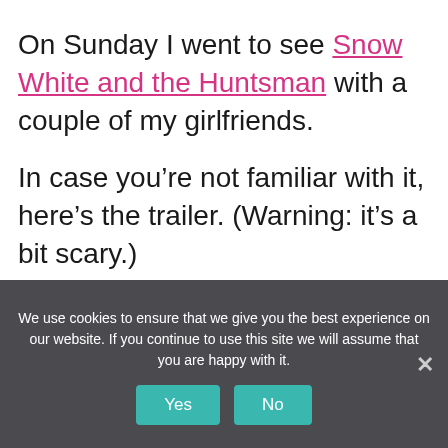On Sunday I went to see Snow White and the Huntsman with a couple of my girlfriends.
In case you're not familiar with it, here's the trailer. (Warning: it's a bit scary.)
We use cookies to ensure that we give you the best experience on our website. If you continue to use this site we will assume that you are happy with it.